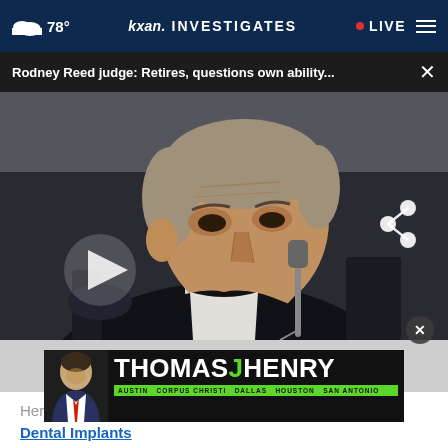☁ 78° | kxan. INVESTIGATES | • LIVE
Rodney Reed judge: Retires, questions own ability...
[Figure (screenshot): Video still of an elderly male judge in black judicial robes seated at a bench with a microphone, viewed from the side. A play button triangle is visible on the left side of the video. A share icon (network share symbol) appears in the upper right corner of the video.]
[Figure (photo): Advertisement for Thomas J Henry law firm. Shows a man in a suit on the left. Black background with large white text THOMASJHENRY with a green J. Below in a green bar: AUSTIN  CORPUS CHRISTI  DALLAS  HOUSTON  SAN ANTONIO]
Her
Dental Implants